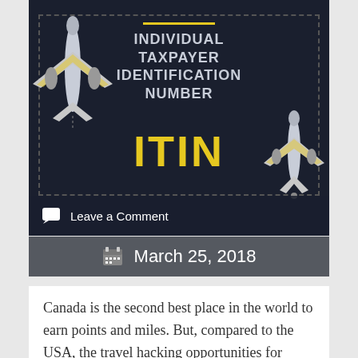[Figure (infographic): Dark navy infographic banner with two airplane illustrations (one large top-down view on left, one smaller bottom-up view on right), a yellow horizontal line at top center, white/grey bold text reading 'INDIVIDUAL TAXPAYER IDENTIFICATION NUMBER', and large yellow bold text reading 'ITIN'. A dashed border rectangle frames the content. A comment bar at bottom reads 'Leave a Comment'.]
March 25, 2018
Canada is the second best place in the world to earn points and miles. But, compared to the USA, the travel hacking opportunities for